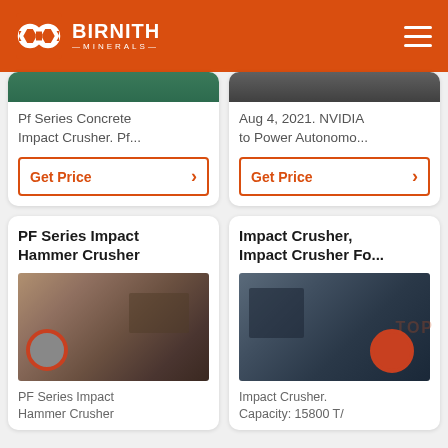BIRNITH MINERALS
[Figure (photo): Partial view of a crusher machine image (top card left) — Pf Series Concrete Impact Crusher]
Pf Series Concrete Impact Crusher. Pf...
Get Price
[Figure (photo): Partial image (top card right) — NVIDIA to Power Autonomous article thumbnail]
Aug 4, 2021. NVIDIA to Power Autonomo...
Get Price
PF Series Impact Hammer Crusher
[Figure (photo): Photo of PF Series Impact Hammer Crusher industrial machine in a factory setting with red flywheel]
PF Series Impact Hammer Crusher
Impact Crusher, Impact Crusher Fo...
[Figure (photo): Photo of a large dark grey Impact Crusher machine with orange flywheel in a factory/warehouse setting]
Impact Crusher. Capacity: 15800 T/